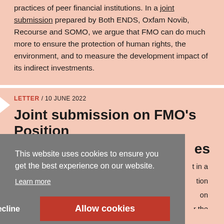practices of peer financial institutions. In a joint submission prepared by Both ENDS, Oxfam Novib, Recourse and SOMO, we argue that FMO can do much more to ensure the protection of human rights, the environment, and to measure the development impact of its indirect investments.
LETTER / 10 JUNE 2022
Joint submission on FMO's Position
This website uses cookies to ensure you get the best experience on our website.
Learn more
Decline
Allow cookies
rights and the environment and take full responsibility